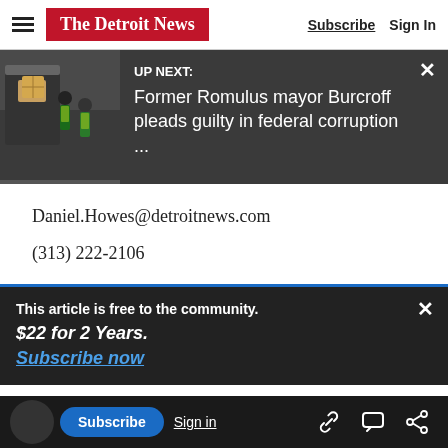The Detroit News — Subscribe | Sign In
[Figure (screenshot): UP NEXT banner with photo of warehouse workers and headline: Former Romulus mayor Burcroff pleads guilty in federal corruption ...]
Daniel.Howes@detroitnews.com
(313) 222-2106
This article is free to the community. $22 for 2 Years. Subscribe now
podcasts, or catch him 3 and 10 p.m. Thursdays
Subscribe | Sign in